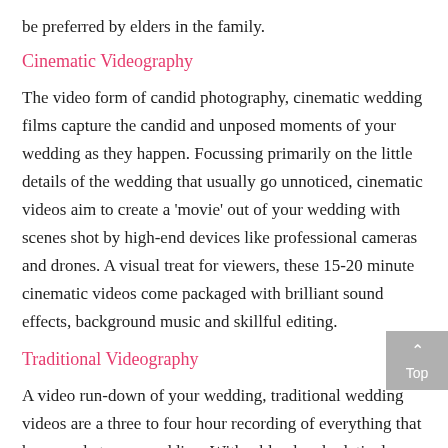be preferred by elders in the family.
Cinematic Videography
The video form of candid photography, cinematic wedding films capture the candid and unposed moments of your wedding as they happen. Focussing primarily on the little details of the wedding that usually go unnoticed, cinematic videos aim to create a 'movie' out of your wedding with scenes shot by high-end devices like professional cameras and drones. A visual treat for viewers, these 15-20 minute cinematic videos come packaged with brilliant sound effects, background music and skillful editing.
Traditional Videography
A video run-down of your wedding, traditional wedding videos are a three to four hour recording of everything that happened at your wedding. With a bland and relatively slow